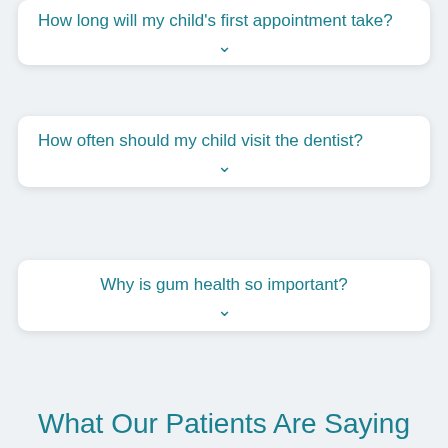How long will my child's first appointment take?
How often should my child visit the dentist?
Why is gum health so important?
What Our Patients Are Saying